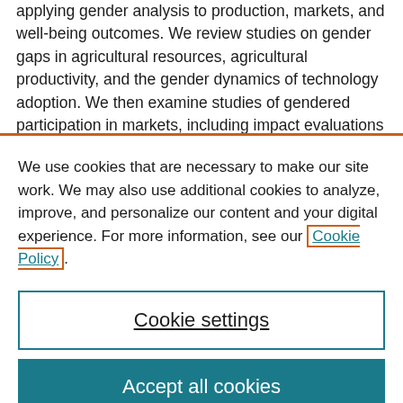applying gender analysis to production, markets, and well-being outcomes. We review studies on gender gaps in agricultural resources, agricultural productivity, and the gender dynamics of technology adoption. We then examine studies of gendered participation in markets, including impact evaluations of interventions to improve gender equity in marketing schemes. We review the literature on how women's empowerment and gender equality affect nutrition outcomes
We use cookies that are necessary to make our site work. We may also use additional cookies to analyze, improve, and personalize our content and your digital experience. For more information, see our Cookie Policy.
Cookie settings
Accept all cookies